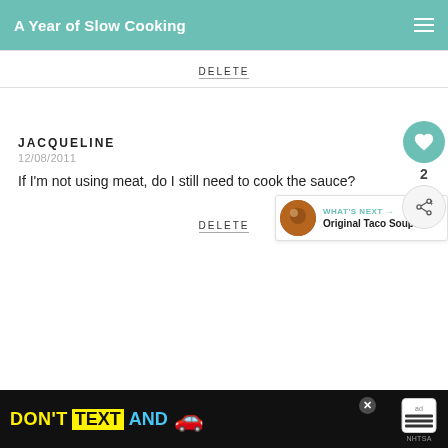A Year of Slow Cooking
DELETE
JACQUELINE
12/08/2011
If I'm not using meat, do I still need to cook the sauce?
DELETE
WHAT'S NEXT → Original Taco Soup...
[Figure (screenshot): Advertisement banner: DON'T TEXT AND [car emoji] with NHTSA branding]